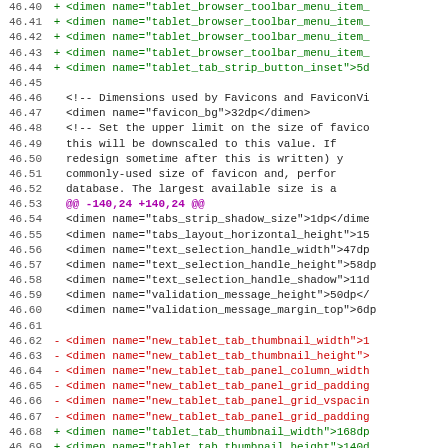Code diff showing XML dimension resource file changes including tablet browser toolbar menu items, favicon dimensions, tabs strip, text selection handles, validation message dimensions, and tablet tab thumbnail/panel grid dimensions.